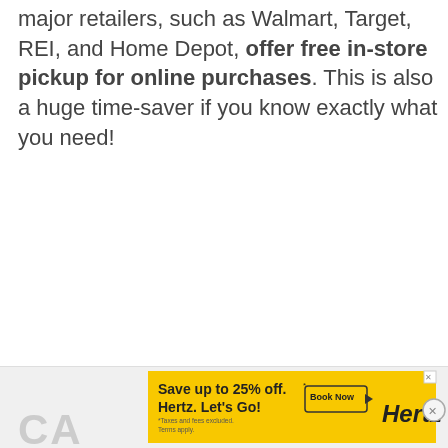major retailers, such as Walmart, Target, REI, and Home Depot, offer free in-store pickup for online purchases. This is also a huge time-saver if you know exactly what you need!
[Figure (other): Hertz advertisement banner: yellow background with text 'Save up to 25% off.* Hertz. Let’s Go!' and a 'Book Now' button with play icon, Hertz logo, and a close X button. Partially visible 'CA' text in gray at bottom left.]